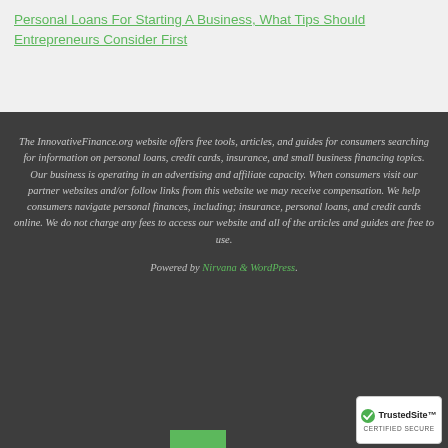Personal Loans For Starting A Business, What Tips Should Entrepreneurs Consider First
The InnovativeFinance.org website offers free tools, articles, and guides for consumers searching for information on personal loans, credit cards, insurance, and small business financing topics. Our business is operating in an advertising and affiliate capacity. When consumers visit our partner websites and/or follow links from this website we may receive compensation. We help consumers navigate personal finances, including; insurance, personal loans, and credit cards online. We do not charge any fees to access our website and all of the articles and guides are free to use.
Powered by Nirvana & WordPress.
[Figure (logo): TrustedSite Certified Secure badge with checkmark logo]